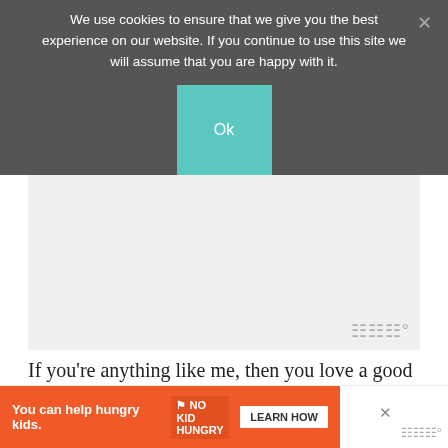We use cookies to ensure that we give you the best experience on our website. If you continue to use this site we will assume that you are happy with it.
[Figure (screenshot): Cookie consent overlay with dark grey background, teal Ok button, and close X button]
[Figure (screenshot): Grey advertisement placeholder area with Wistia or similar logo watermark at bottom right]
If you're anything like me, then you love a good excuse to eat anything made with chocolate and
[Figure (screenshot): Bottom banner ad: orange background with 'You can help hungry kids.' text, No Kid Hungry logo, and LEARN HOW button]